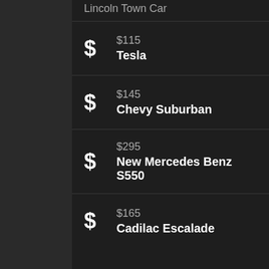Lincoln Town Car
$115 Tesla
$145 Chevy Suburban
$295 New Mercedes Benz S550
$165 Cadilac Escalade